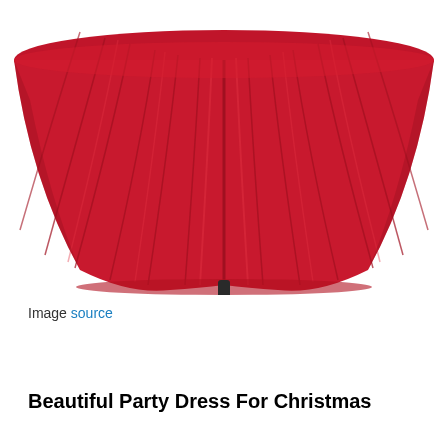[Figure (photo): A red pleated party dress displayed on a dress form/mannequin stand, showing the skirt portion flared outward, photographed against a white background.]
Image source
Beautiful Party Dress For Christmas